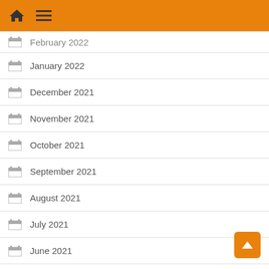Navigation header with home and menu icons
February 2022
January 2022
December 2021
November 2021
October 2021
September 2021
August 2021
July 2021
June 2021
May 2021
April 2021